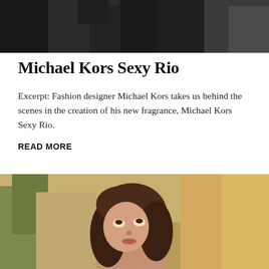[Figure (photo): Partial photo at top of page showing a person in dark clothing against a dark background, cropped at bottom]
Michael Kors Sexy Rio
Excerpt: Fashion designer Michael Kors takes us behind the scenes in the creation of his new fragrance, Michael Kors Sexy Rio.
READ MORE
[Figure (photo): Photo of a young woman with curly brown hair looking upward, shot outdoors with blurred background of trees and warm light]